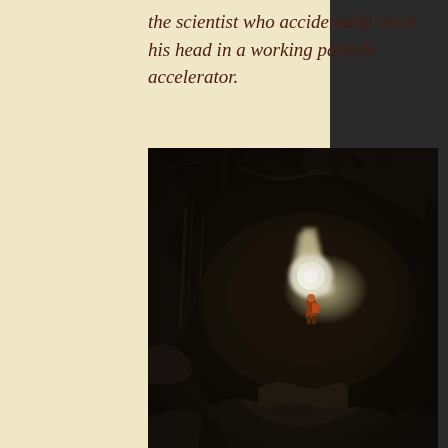the scientist who accidentally stuck his head in a working particle accelerator.
[Figure (photo): Dark cave interior photograph showing a person standing small in the middle ground illuminated by a beam of light, with dramatic rocky cave walls and formations surrounding them. The cave is vast and the single figure is highlighted against a bright white light source.]